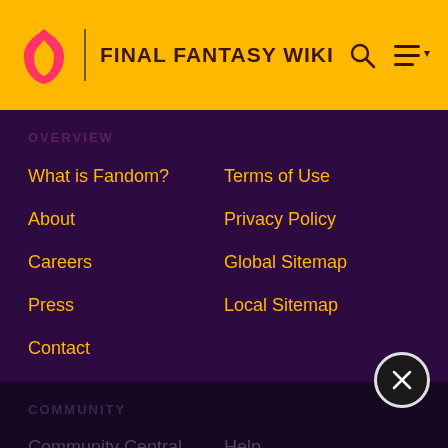FINAL FANTASY WIKI
OVERVIEW
What is Fandom?
Terms of Use
About
Privacy Policy
Careers
Global Sitemap
Press
Local Sitemap
Contact
COMMUNITY
Community Central
Help
Support